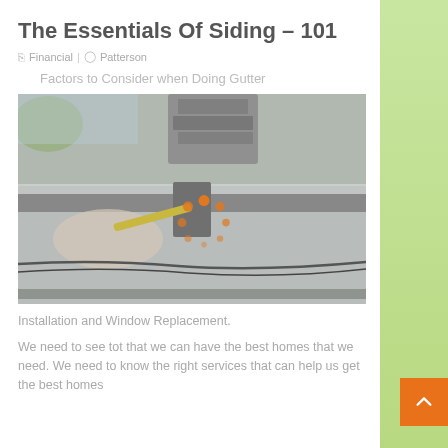The Essentials Of Siding – 101
Financial | Patterson
Factors to Consider when Doing Gutter
[Figure (photo): A person using a tool to work on a metal gutter attached to a house, with a loading spinner overlay in the center of the image.]
Installation and Window Replacement.
We need to see tot that we can have the best homes that we need. We need to know the right services that can help us get the best homes